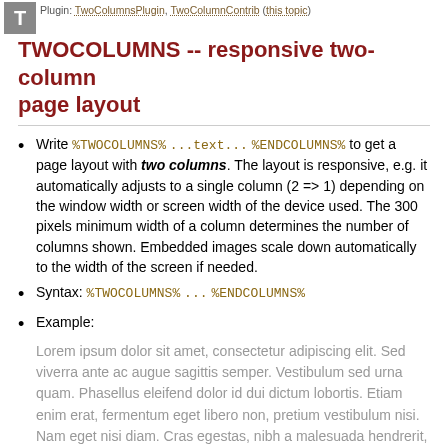Plugin: TwoColumnsPlugin, TwoColumnContrib (this topic)
TWOCOLUMNS -- responsive two-column page layout
Write %TWOCOLUMNS% ...text... %ENDCOLUMNS% to get a page layout with two columns. The layout is responsive, e.g. it automatically adjusts to a single column (2 => 1) depending on the window width or screen width of the device used. The 300 pixels minimum width of a column determines the number of columns shown. Embedded images scale down automatically to the width of the screen if needed.
Syntax: %TWOCOLUMNS% ... %ENDCOLUMNS%
Example:
Lorem ipsum dolor sit amet, consectetur adipiscing elit. Sed viverra ante ac augue sagittis semper. Vestibulum sed urna quam. Phasellus eleifend dolor id dui dictum lobortis. Etiam enim erat, fermentum eget libero non, pretium vestibulum nisi. Nam eget nisi diam. Cras egestas, nibh a malesuada hendrerit, tellus turpis gravida dolor, at fermentum ipsum libero id eros. Mauris a nunc turpis. Fusce turpis dui, blandit nec maximus at,